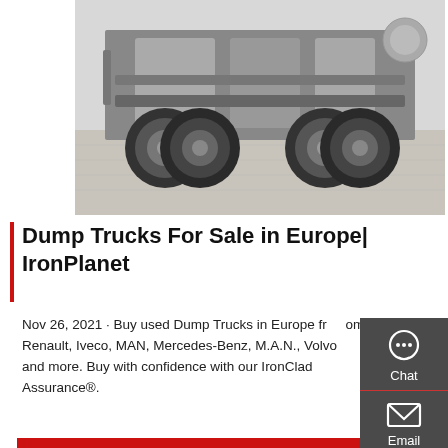[Figure (photo): Underside and rear axles of a large truck/tractor unit, viewed from the side on a concrete surface.]
Dump Trucks For Sale in Europe | IronPlanet
Nov 26, 2021 · Buy used Dump Trucks in Europe from Renault, Iveco, MAN, Mercedes-Benz, M.A.N., Volvo and more. Buy with confidence with our IronClad Assurance®.
Get a Quote
[Figure (photo): HOWO Sinotruk dealership building with red signage showing 中国重汽 SINOTRUK and HOWO 天津豪沃销售中心 branding; a red truck cab is visible in front.]